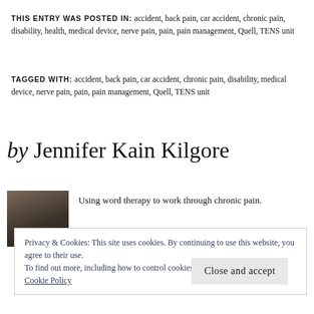THIS ENTRY WAS POSTED IN: accident, back pain, car accident, chronic pain, disability, health, medical device, nerve pain, pain, pain management, Quell, TENS unit
TAGGED WITH: accident, back pain, car accident, chronic pain, disability, medical device, nerve pain, pain, pain management, Quell, TENS unit
by Jennifer Kain Kilgore
[Figure (photo): Small portrait photo of the author Jennifer Kain Kilgore]
Using word therapy to work through chronic pain.
Privacy & Cookies: This site uses cookies. By continuing to use this website, you agree to their use.
To find out more, including how to control cookies, see here:
Cookie Policy
Close and accept